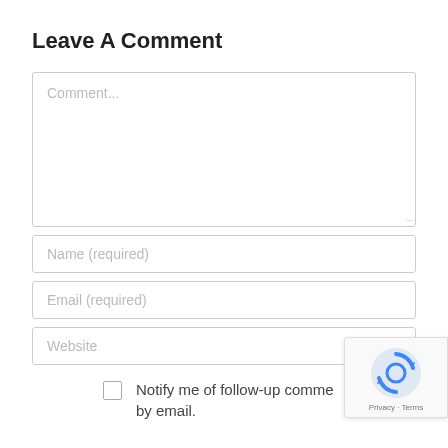Leave A Comment
[Figure (screenshot): Comment text area input box with placeholder text 'Comment...' and a resize handle in the bottom-right corner]
[Figure (screenshot): Name input field with placeholder 'Name (required)']
[Figure (screenshot): Email input field with placeholder 'Email (required)']
[Figure (screenshot): Website input field with placeholder 'Website']
Notify me of follow-up comments by email.
[Figure (screenshot): reCAPTCHA badge showing Google reCAPTCHA logo with 'Privacy - Terms' text below]